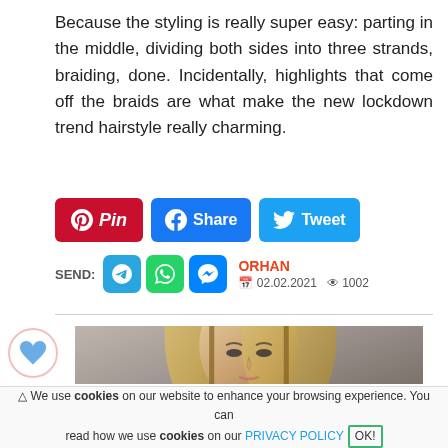Because the styling is really super easy: parting in the middle, dividing both sides into three strands, braiding, done. Incidentally, highlights that come off the braids are what make the new lockdown trend hairstyle really charming.
[Figure (infographic): Social sharing buttons: Pinterest (red), Facebook Share (blue), Twitter Tweet (light blue)]
SEND: [Telegram icon] [WhatsApp icon] [Messenger icon]   ORHAN  02.02.2021  1002 views
[Figure (photo): Close-up photo of a blonde model with braided hair extensions, runway/fashion style]
[Figure (infographic): Heart badge/icon on lower left corner]
⚠ We use cookies on our website to enhance your browsing experience. You can read how we use cookies on our PRIVACY POLICY OK!